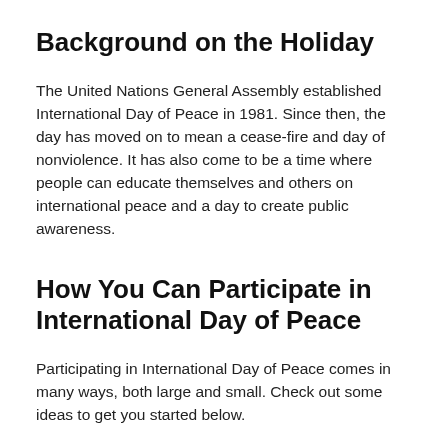Background on the Holiday
The United Nations General Assembly established International Day of Peace in 1981. Since then, the day has moved on to mean a cease-fire and day of nonviolence. It has also come to be a time where people can educate themselves and others on international peace and a day to create public awareness.
How You Can Participate in International Day of Peace
Participating in International Day of Peace comes in many ways, both large and small. Check out some ideas to get you started below.
…